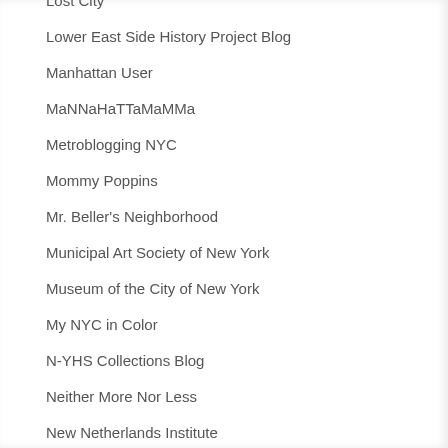Lost City
Lower East Side History Project Blog
Manhattan User
MaNNaHaTTaMaMMa
Metroblogging NYC
Mommy Poppins
Mr. Beller's Neighborhood
Municipal Art Society of New York
Museum of the City of New York
My NYC in Color
N-YHS Collections Blog
Neither More Nor Less
New Netherlands Institute
New York Daily Photo
New York Hyperlocal